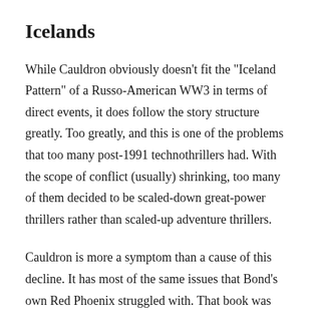Icelands
While Cauldron obviously doesn’t fit the “Iceland Pattern” of a Russo-American WW3 in terms of direct events, it does follow the story structure greatly. Too greatly, and this is one of the problems that too many post-1991 technothrillers had. With the scope of conflict (usually) shrinking, too many of them decided to be scaled-down great-power thrillers rather than scaled-up adventure thrillers.
Cauldron is more a symptom than a cause of this decline. It has most of the same issues that Bond’s own Red Phoenix struggled with. That book was written during the Cold War and featured a far more realistic